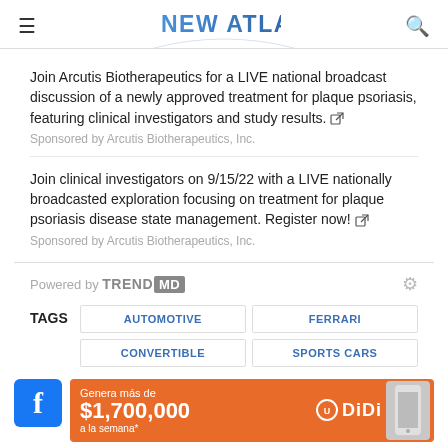NEW ATLAS
Join Arcutis Biotherapeutics for a LIVE national broadcast discussion of a newly approved treatment for plaque psoriasis, featuring clinical investigators and study results.
Sponsored by Arcutis Biotherapeutics, Inc.
Join clinical investigators on 9/15/22 with a LIVE nationally broadcasted exploration focusing on treatment for plaque psoriasis disease state management. Register now!
Sponsored by Arcutis Biotherapeutics, Inc.
Powered by TREND MD
AUTOMOTIVE
FERRARI
CONVERTIBLE
SPORTS CARS
[Figure (infographic): DiDi advertisement banner: orange background with text 'Genera más de $1,700,000 a la semana*' and DiDi logo with phone graphic]